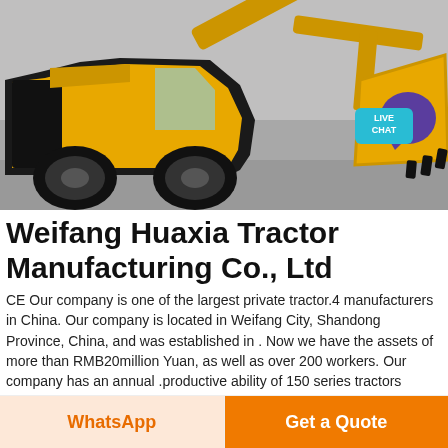[Figure (photo): A yellow front loader / wheel loader machine on a concrete surface, photographed at an angle showing the raised bucket arm. A 'LIVE CHAT' badge appears in the upper right corner of the image.]
Weifang Huaxia Tractor Manufacturing Co., Ltd
CE Our company is one of the largest private tractor.4 manufacturers in China. Our company is located in Weifang City, Shandong Province, China, and was established in . Now we have the assets of more than RMB20million Yuan, as well as over 200 workers. Our company has an annual productive ability of 150 series tractors
WhatsApp
Get a Quote